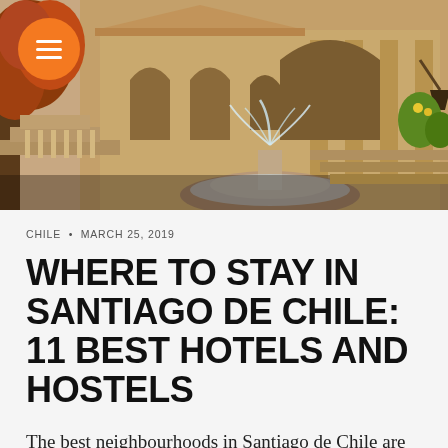[Figure (photo): Photo of an ornate historic building with baroque architecture, fountain in foreground with water spraying, arched doorways and columns, autumn trees with orange-red foliage visible on the left. An orange circular menu button with white hamburger lines overlaid in upper left.]
CHILE • MARCH 25, 2019
WHERE TO STAY IN SANTIAGO DE CHILE: 11 BEST HOTELS AND HOSTELS
The best neighbourhoods in Santiago de Chile are the centrally located and trendy